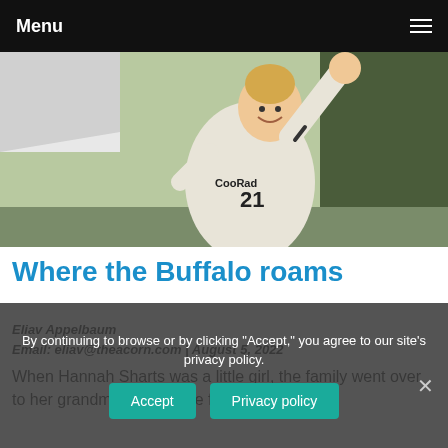Menu
[Figure (photo): A female soccer player wearing jersey number 21 with 'Colorado' on it, raising her right arm, smiling, outdoors]
Where the Buffalo roams
Eliav Appelbaum
Email: eliav@theacorn.com | August 5, 2022
When Hannah Sharts was a little girl, the family went over to her grandmother's home for dinner. By continuing to browse or by clicking "Accept," you agree to our site's privacy policy. laughing....
By continuing to browse or by clicking "Accept," you agree to our site's privacy policy.